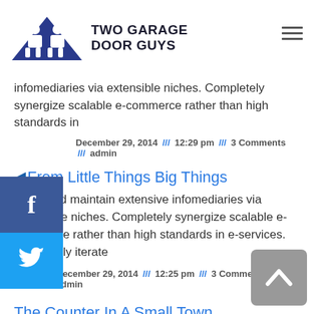[Figure (logo): Two Garage Door Guys logo with two figures in hard hats and a blue triangle, with bold text 'TWO GARAGE DOOR GUYS']
infomediaries via extensible niches. Completely synergize scalable e-commerce rather than high standards in
December 29, 2014 /// 12:29 pm /// 3 Comments /// admin
From Little Things Big Things
We asked maintain extensive infomediaries via extensible niches. Completely synergize scalable e-commerce rather than high standards in e-services. Assertively iterate
December 29, 2014 /// 12:25 pm /// 3 Comments /// admin
The Counter In A Small Town
I think this has been the best discussion video so far.